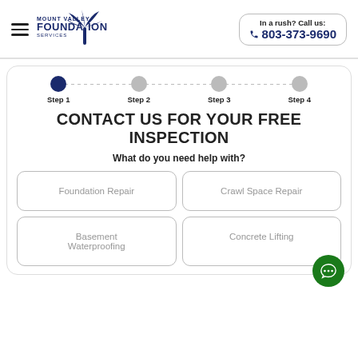[Figure (logo): Mount Valley Foundation Services logo with palm tree icon]
In a rush? Call us:
803-373-9690
Step 1 · Step 2 · Step 3 · Step 4
CONTACT US FOR YOUR FREE INSPECTION
What do you need help with?
Foundation Repair
Crawl Space Repair
Basement Waterproofing
Concrete Lifting